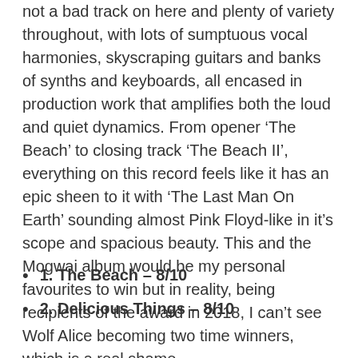not a bad track on here and plenty of variety throughout, with lots of sumptuous vocal harmonies, skyscraping guitars and banks of synths and keyboards, all encased in production work that amplifies both the loud and quiet dynamics. From opener ‘The Beach’ to closing track ‘The Beach II’, everything on this record feels like it has an epic sheen to it with ‘The Last Man On Earth’ sounding almost Pink Floyd-like in it’s scope and spacious beauty. This and the Mogwai album would be my personal favourites to win but in reality, being recipients of the award in 2018, I can’t see Wolf Alice becoming two time winners, which is a real shame.
1. The Beach – 8/10
2. Delicious Things – 8/10